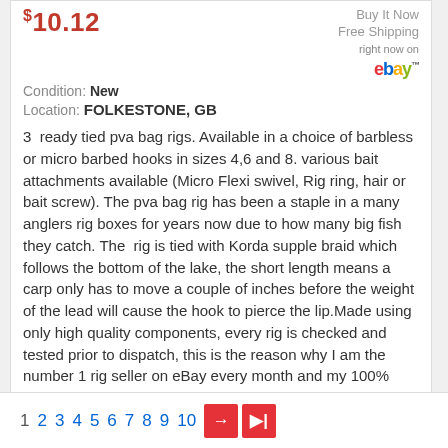$10.12
Buy It Now
Free Shipping
right now on eBay
Condition: New
Location: FOLKESTONE, GB
3  ready tied pva bag rigs. Available in a choice of barbless or micro barbed hooks in sizes 4,6 and 8. various bait attachments available (Micro Flexi swivel, Rig ring, hair or bait screw). The pva bag rig has been a staple in a many anglers rig boxes for years now due to how many big fish they catch. The  rig is tied with Korda supple braid which follows the bottom of the lake, the short length means a carp only has to move a couple of inches before the weight of the lead will cause the hook to pierce the lip.Made using only high quality components, every rig is checked and tested prior to dispatch, this is the reason why I am the number 1 rig seller on eBay every month and my 100% feedback is testament to this. Every rig you buy from Ricks Rigz you can buy with confidence.
1 2 3 4 5 6 7 8 9 10 → ▶|